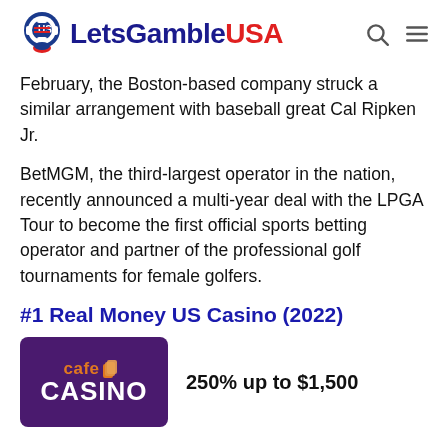LetsGambleUSA
February, the Boston-based company struck a similar arrangement with baseball great Cal Ripken Jr.
BetMGM, the third-largest operator in the nation, recently announced a multi-year deal with the LPGA Tour to become the first official sports betting operator and partner of the professional golf tournaments for female golfers.
#1 Real Money US Casino (2022)
[Figure (logo): Cafe Casino logo on purple background]
250% up to $1,500